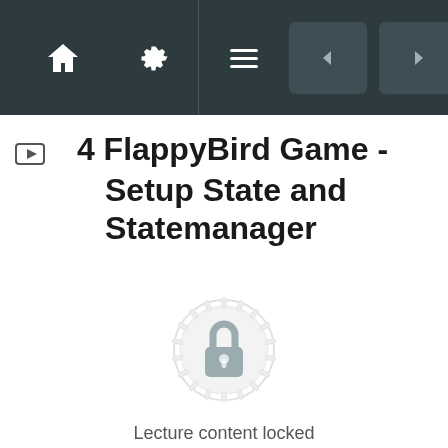Navigation bar with home, settings, menu icons and prev/next buttons
4 FlappyBird Game - Setup State and Statemanager
[Figure (illustration): A locked padlock icon centered on a decorative gear/mandala background, indicating locked lecture content]
Lecture content locked
If you're already enrolled, you'll need to login.